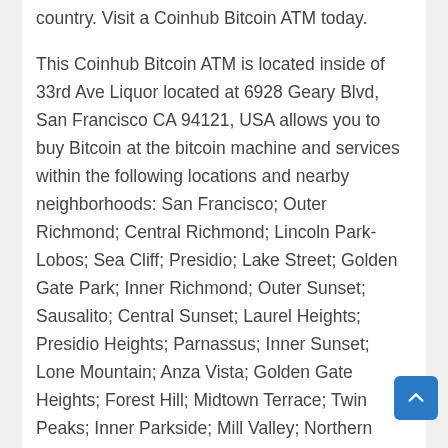country. Visit a Coinhub Bitcoin ATM today.
This Coinhub Bitcoin ATM is located inside of 33rd Ave Liquor located at 6928 Geary Blvd, San Francisco CA 94121, USA allows you to buy Bitcoin at the bitcoin machine and services within the following locations and nearby neighborhoods: San Francisco; Outer Richmond; Central Richmond; Lincoln Park-Lobos; Sea Cliff; Presidio; Lake Street; Golden Gate Park; Inner Richmond; Outer Sunset; Sausalito; Central Sunset; Laurel Heights; Presidio Heights; Parnassus; Inner Sunset; Lone Mountain; Anza Vista; Golden Gate Heights; Forest Hill; Midtown Terrace; Twin Peaks; Inner Parkside; Mill Valley; Northern Park; Panhandle; Marina; Forest Knolls; Cow Hollow; Diamond Heights; Noe Valley; Forest Hill Extension; Castro; Duboce Triangle; Corona Heights; St Francis Wood; West Portal; Sherwood Forest; Miraloma; Lower Pacific